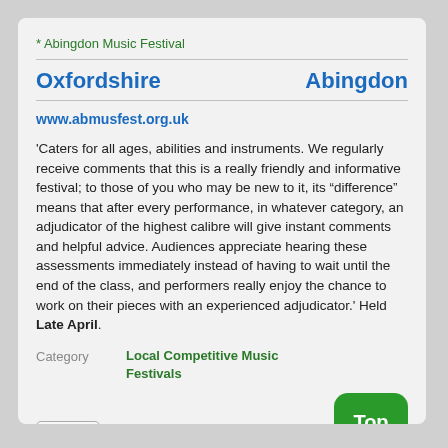* Abingdon Music Festival
Oxfordshire    Abingdon
www.abmusfest.org.uk
'Caters for all ages, abilities and instruments. We regularly receive comments that this is a really friendly and informative festival; to those of you who may be new to it, its “difference” means that after every performance, in whatever category, an adjudicator of the highest calibre will give instant comments and helpful advice. Audiences appreciate hearing these assessments immediately instead of having to wait until the end of the class, and performers really enjoy the chance to work on their pieces with an experienced adjudicator.' Held Late April.
Category   Local Competitive Music Festivals
Visit
Top